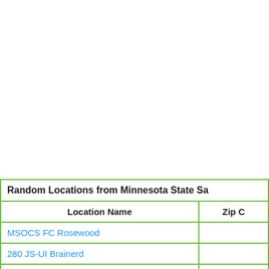| Location Name | Zip C… |
| --- | --- |
| MSOCS FC Rosewood |  |
| 280 JS-UI Brainerd |  |
| MNIT DHS Anoka Treat Ctr |  |